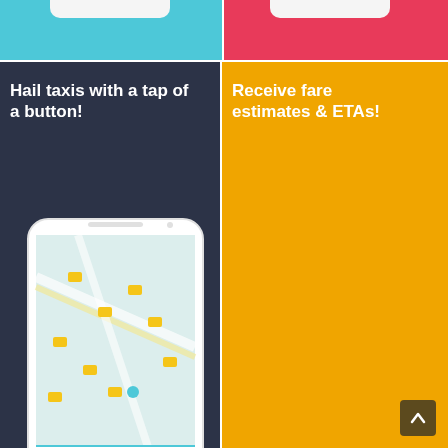[Figure (screenshot): Top left cyan/teal strip with phone top tab shape visible]
[Figure (screenshot): Top right crimson/pink strip with phone top tab shape visible]
[Figure (screenshot): Left dark navy panel with smartphone mockup showing a taxi map app with yellow taxis on a map and 'Where would you like to go?' input field]
Hail taxis with a tap of a button!
[Figure (screenshot): Right golden/amber panel with smartphone mockup showing fare estimate screen with Taxi option, 42-14 21st St address, New York NY 10036, fare $22-$26, 30.7 min, REQUEST TAXI button]
Receive fare estimates & ETAs!